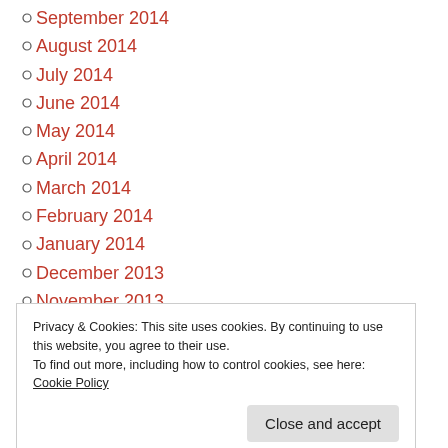September 2014
August 2014
July 2014
June 2014
May 2014
April 2014
March 2014
February 2014
January 2014
December 2013
November 2013
October 2013
Privacy & Cookies: This site uses cookies. By continuing to use this website, you agree to their use.
To find out more, including how to control cookies, see here: Cookie Policy
March 2013